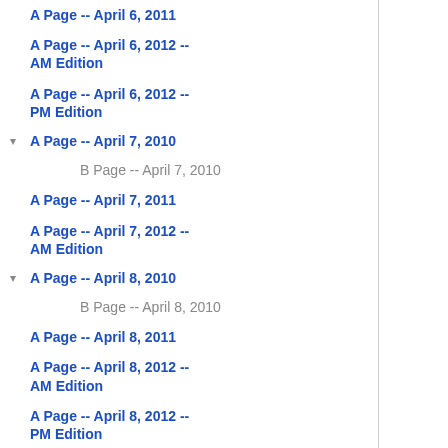A Page -- April 6, 2011
A Page -- April 6, 2012 -- AM Edition
A Page -- April 6, 2012 -- PM Edition
A Page -- April 7, 2010
B Page -- April 7, 2010
A Page -- April 7, 2011
A Page -- April 7, 2012 -- AM Edition
A Page -- April 8, 2010
B Page -- April 8, 2010
A Page -- April 8, 2011
A Page -- April 8, 2012 -- AM Edition
A Page -- April 8, 2012 -- PM Edition
A Page -- April 9, 2010
A Page -- April 9, 2011
A Page -- April 9, 2012 -- AM Edition
A Page -- April 9, 2012 -- PM Edition
A Page -- Aug 18, 2010